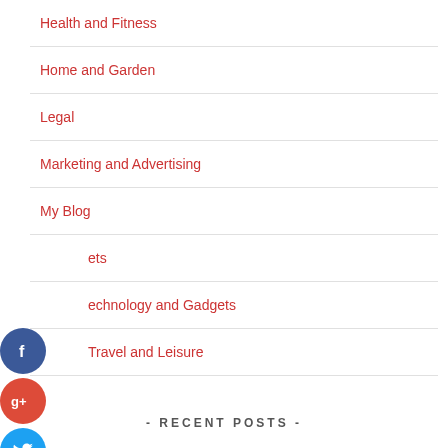Health and Fitness
Home and Garden
Legal
Marketing and Advertising
My Blog
Pets
Technology and Gadgets
Travel and Leisure
[Figure (infographic): Social sharing icons: Facebook (blue circle with f), Google+ (red circle with g+), Twitter (blue circle with bird), and a dark blue plus/add button]
- RECENT POSTS -